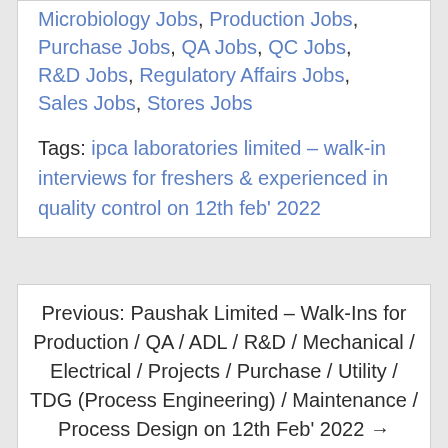Microbiology Jobs, Production Jobs, Purchase Jobs, QA Jobs, QC Jobs, R&D Jobs, Regulatory Affairs Jobs, Sales Jobs, Stores Jobs
Tags: ipca laboratories limited – walk-in interviews for freshers & experienced in quality control on 12th feb' 2022
Previous: Paushak Limited – Walk-Ins for Production / QA / ADL / R&D / Mechanical / Electrical / Projects / Purchase / Utility / TDG (Process Engineering) / Maintenance / Process Design on 12th Feb' 2022 →